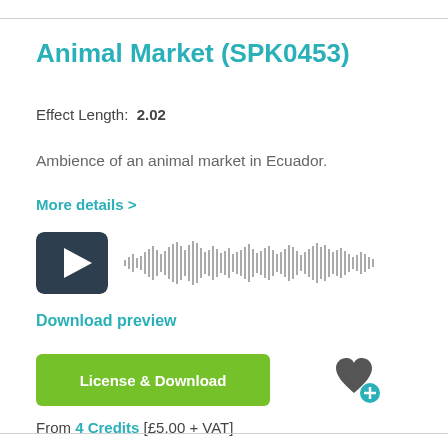Animal Market (SPK0453)
Effect Length: 2.02
Ambience of an animal market in Ecuador.
More details >
[Figure (other): Audio player with play button (dark square with triangle) and grey sound waveform visualization]
Download preview
License & Download
[Figure (illustration): Dark heart icon with a teal circular plus button overlaid at bottom right]
From 4 Credits [£5.00 + VAT]